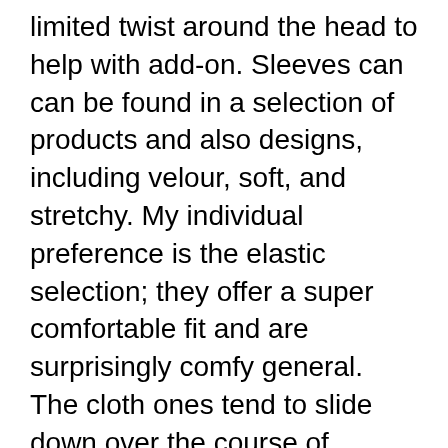limited twist around the head to help with add-on. Sleeves can can be found in a selection of products and also designs, including velour, soft, and stretchy. My individual preference is the elastic selection; they offer a super comfortable fit and are surprisingly comfy general. The cloth ones tend to slide down over the course of several weeks, creating an unkempt looking member.
If you're trying to find an extra long-term option, you can buy penis sleeves. They are available in 2 fundamental designs: sticky (which is where the penis gets stayed with the sleeve) and also nonstick. If you don't care concerning revealing your sleeve off, sticky variations are fine, but if you're